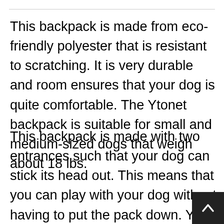This backpack is made from eco-friendly polyester that is resistant to scratching. It is very durable and room ensures that your dog is quite comfortable. The Ytonet backpack is suitable for small and medium-sized dogs that weigh about 18 lbs.
This backpack is made with two entrances such that your dog can stick its head out. This means that you can play with your dog without having to put the pack down. You can readily roll up the pad cover for convenience purposes. Four breathable mesh windows to provide...